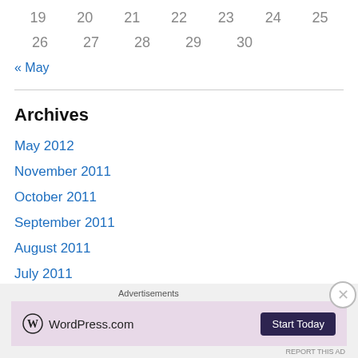| 19 | 20 | 21 | 22 | 23 | 24 | 25 |
| 26 | 27 | 28 | 29 | 30 |  |  |
« May
Archives
May 2012
November 2011
October 2011
September 2011
August 2011
July 2011
June 2011
May 2011
April 2011
Advertisements
[Figure (other): WordPress.com advertisement banner with Start Today button]